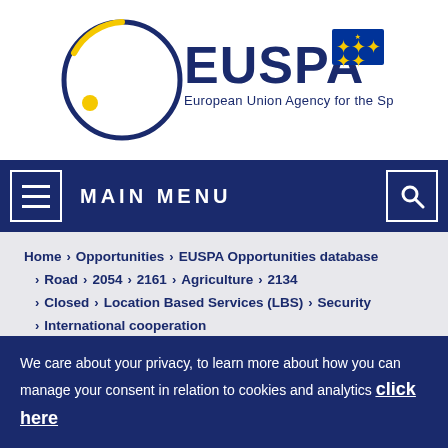[Figure (logo): EUSPA logo — European Union Agency for the Space Programme, with dark blue and yellow circular orbit graphic and EU flag]
MAIN MENU
Home > Opportunities > EUSPA Opportunities database
> Road > 2054 > 2161 > Agriculture > 2134
> Closed > Location Based Services (LBS) > Security
> International cooperation
> Timing & Synchronisation (T&S)
We care about your privacy, to learn more about how you can manage your consent in relation to cookies and analytics click here